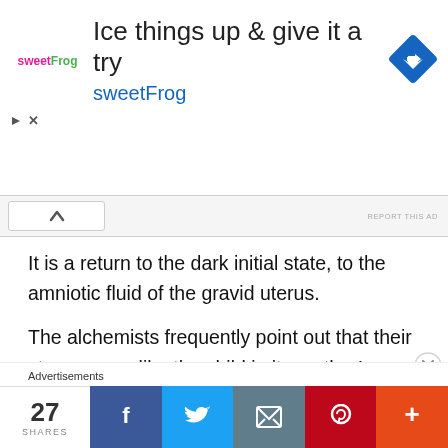[Figure (screenshot): sweetFrog advertisement banner with logo, headline 'Ice things up & give it a try', subline 'sweetFrog', and navigation arrow icon]
It is a return to the dark initial state, to the amniotic fluid of the gravid uterus.
The alchemists frequently point out that their stone grows like the child in its mother's womb; they call the vas hermeticum the uterus and its content the foetus.
What is said of the lapis is also said of the water: “This
27 SHARES